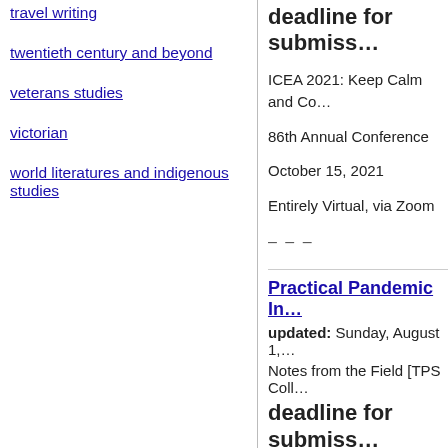travel writing
twentieth century and beyond
veterans studies
victorian
world literatures and indigenous studies
deadline for submiss…
ICEA 2021: Keep Calm and Co…
86th Annual Conference
October 15, 2021
Entirely Virtual, via Zoom
– – –
Practical Pandemic In…
updated: Sunday, August 1,…
Notes from the Field [TPS Coll…
deadline for submiss…
Notes from the Field, a public…
primary sources for two serie…